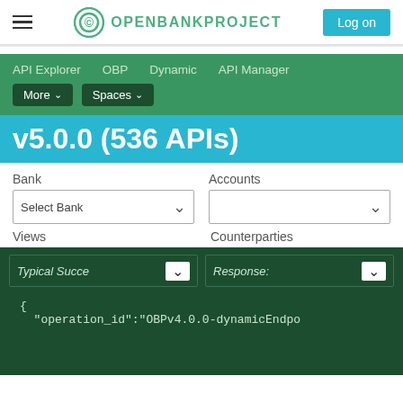OPENBANKPROJECT — Log on
API Explorer   OBP   Dynamic   API Manager   More ▾   Spaces ▾
v5.0.0 (536 APIs)
Bank   Accounts   Select Bank ▾   ▾   Views   Counterparties
Typical Success Response:
{
  "operation_id":"OBPv4.0.0-dynamicEndpo